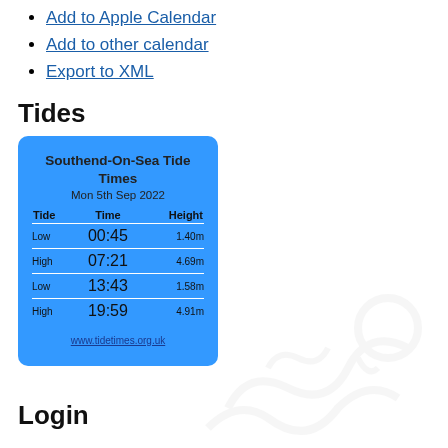Add to Apple Calendar
Add to other calendar
Export to XML
Tides
| Tide | Time | Height |
| --- | --- | --- |
| Low | 00:45 | 1.40m |
| High | 07:21 | 4.69m |
| Low | 13:43 | 1.58m |
| High | 19:59 | 4.91m |
Southend-On-Sea Tide Times
Mon 5th Sep 2022
www.tidetimes.org.uk
Login